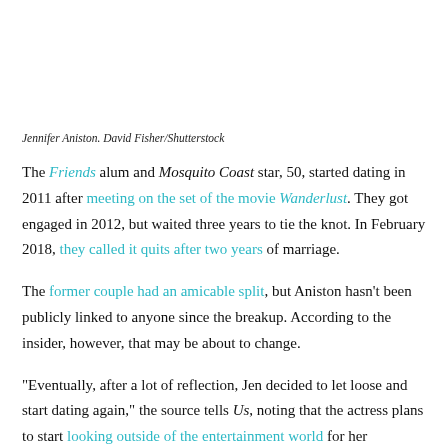Jennifer Aniston. David Fisher/Shutterstock
The Friends alum and Mosquito Coast star, 50, started dating in 2011 after meeting on the set of the movie Wanderlust. They got engaged in 2012, but waited three years to tie the knot. In February 2018, they called it quits after two years of marriage.
The former couple had an amicable split, but Aniston hasn't been publicly linked to anyone since the breakup. According to the insider, however, that may be about to change.
“Eventually, after a lot of reflection, Jen decided to let loose and start dating again,” the source tells Us, noting that the actress plans to start looking outside of the entertainment world for her